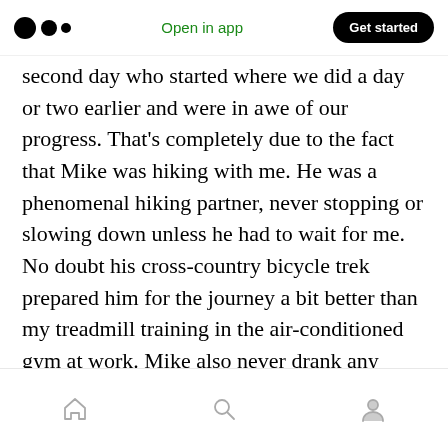Medium app navigation bar with logo, 'Open in app', and 'Get started' button
second day who started where we did a day or two earlier and were in awe of our progress. That's completely due to the fact that Mike was hiking with me. He was a phenomenal hiking partner, never stopping or slowing down unless he had to wait for me. No doubt his cross-country bicycle trek prepared him for the journey a bit better than my treadmill training in the air-conditioned gym at work. Mike also never drank any water. Ever. His 1.5-liter Mountain Dew bottle of water was still ¾ full. He was like a camel; meanwhile I had guzzled 6 liters of water since we started.
Bottom navigation bar with home, search, and profile icons